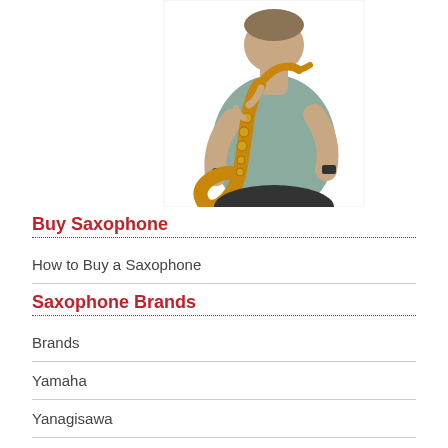[Figure (photo): A person in a gray t-shirt playing a gold saxophone, shown from torso up against a white background]
Buy Saxophone
How to Buy a Saxophone
Saxophone Brands
Brands
Yamaha
Yanagisawa
Martin